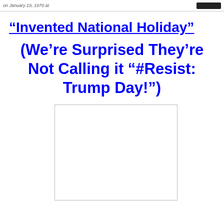on January 19, 1970 at ...
“Invented National Holiday”
(We’re Surprised They’re Not Calling it “#Resist: Trump Day!”)
[Figure (other): Empty white rectangle with border, placeholder image area]